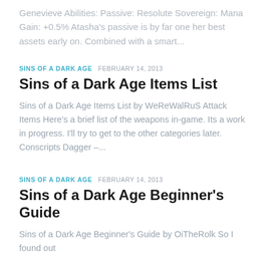Genevieve Abilities: Passive: Resolute Sovereign: Mana Gain: +0.5% Atasha's passive is by far one her best assets early on. Combined with a smart...
SINS OF A DARK AGE  FEBRUARY 14, 2013
Sins of a Dark Age Items List
Sins of a Dark Age Items List by WeReWalRuS Attack Items Here's a brief list of the weapons in-game. Its a work in progress. I'll try to get to the other categories later. Conscripts Dagger –...
SINS OF A DARK AGE  FEBRUARY 14, 2013
Sins of a Dark Age Beginner's Guide
Sins of a Dark Age Beginner's Guide by OiTheRolk So I found out